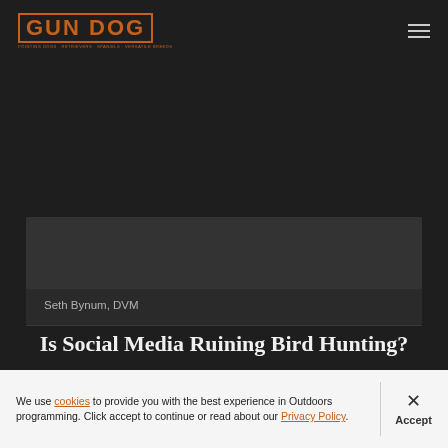GUN DOG
[Figure (other): Dark banner area with article image placeholder]
Seth Bynum, DVM
Is Social Media Ruining Bird Hunting?
We use cookies to provide you with the best experience in Outdoors programming. Click accept to continue or read about our Privacy Policy.